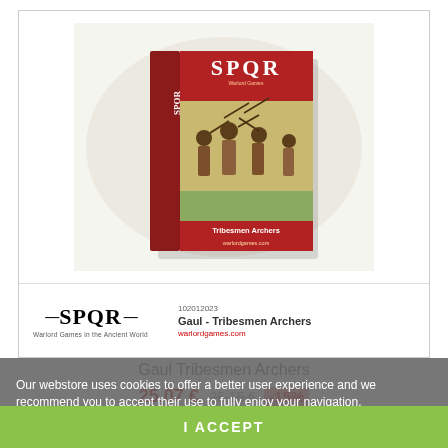[Figure (photo): Product box image for SPQR Gaul Tribesmen Archers miniatures game, showing the box art with ancient warriors/archers. Below the box image is the SPQR logo and product name 'Gaul - Tribesmen Archers' with website 'warlordgames.com'.]
Gaul Tribesmen Archers
25,07 € 25,15 € -15%
Add to cart
Our webstore uses cookies to offer a better user experience and we recommend you to accept their use to fully enjoy your navigation.
More information   customize cookies
I ACCEPT